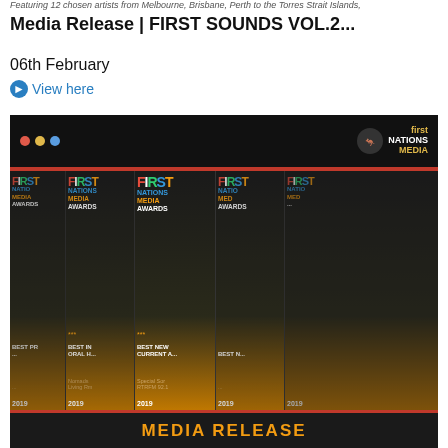Featuring 12 chosen artists from Melbourne, Brisbane, Perth to the Torres Strait Islands,
Media Release | FIRST SOUNDS VOL.2...
06th February
View here
[Figure (screenshot): Screenshot of a webpage showing a First Nations Media Australia media release, featuring award trophies with 'FIRST NATIONS MEDIA AWARDS' text, and a bottom bar reading 'MEDIA RELEASE' in orange text.]